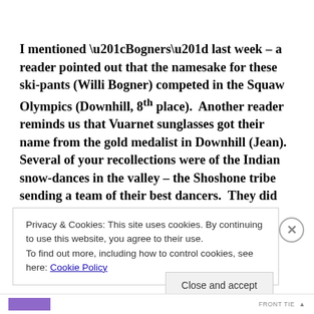I mentioned “Bogners” last week – a reader pointed out that the namesake for these ski-pants (Willi Bogner) competed in the Squaw Olympics (Downhill, 8th place).  Another reader reminds us that Vuarnet sunglasses got their name from the gold medalist in Downhill (Jean).  Several of your recollections were of the Indian snow-dances in the valley – the Shoshone tribe sending a team of their best dancers.  They did
Privacy & Cookies: This site uses cookies. By continuing to use this website, you agree to their use.
To find out more, including how to control cookies, see here: Cookie Policy
Close and accept